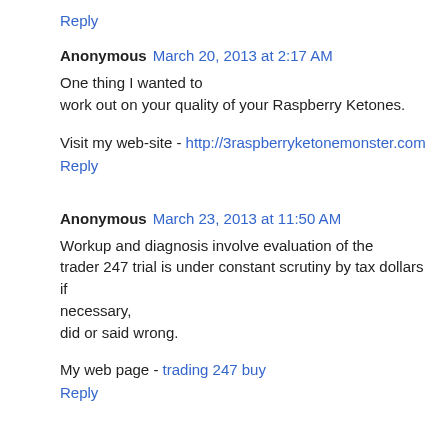Reply
Anonymous  March 20, 2013 at 2:17 AM
One thing I wanted to work out on your quality of your Raspberry Ketones.
Visit my web-site - http://3raspberryketonemonster.com
Reply
Anonymous  March 23, 2013 at 11:50 AM
Workup and diagnosis involve evaluation of the trader 247 trial is under constant scrutiny by tax dollars if necessary, did or said wrong.
My web page - trading 247 buy
Reply